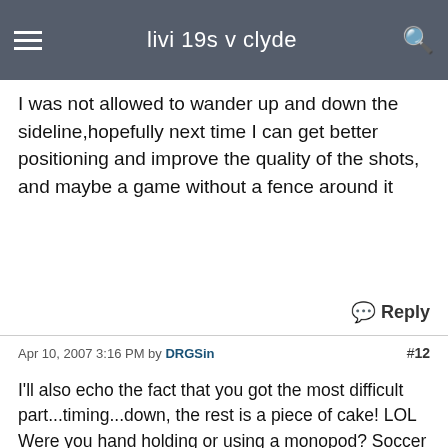livi 19s v clyde
I was not allowed to wander up and down the sideline,hopefully next time I can get better positioning and improve the quality of the shots, and maybe a game without a fence around it
Reply
Apr 10, 2007 3:16 PM by DRGSin #12
I'll also echo the fact that you got the most difficult part...timing...down, the rest is a piece of cake! LOL Were you hand holding or using a monopod? Soccer is a difficult sport to react to with a camera so def dont get discouraged. Have you tried shooting in Shutter mode for the speed of the game or in Aperature mode for the necessary DOF? Also, the type of metering youre using to AF could affecthow quickly your camera focuses. I'll let others chime in on that one, since Im still trying to memorize it.Above all....Practice practice practice. Im the poster child for horrible pics at a new sport...mine was basketball, but with